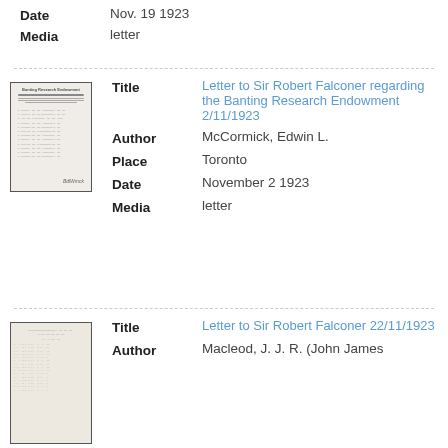Date: Nov. 19 1923
Media: letter
[Figure (photo): Thumbnail of a typed letter document with 'Banting Research Endowment' heading]
Title: Letter to Sir Robert Falconer regarding the Banting Research Endowment 2/11/1923
Author: McCormick, Edwin L.
Place: Toronto
Date: November 2 1923
Media: letter
[Figure (photo): Thumbnail of a typed letter document]
Title: Letter to Sir Robert Falconer 22/11/1923
Author: Macleod, J. J. R. (John James